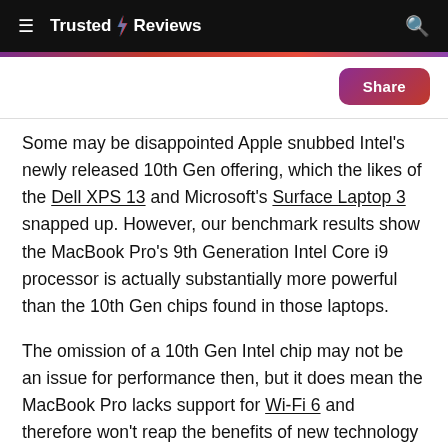≡ Trusted Reviews [search icon]
Some may be disappointed Apple snubbed Intel's newly released 10th Gen offering, which the likes of the Dell XPS 13 and Microsoft's Surface Laptop 3 snapped up. However, our benchmark results show the MacBook Pro's 9th Generation Intel Core i9 processor is actually substantially more powerful than the 10th Gen chips found in those laptops.
The omission of a 10th Gen Intel chip may not be an issue for performance then, but it does mean the MacBook Pro lacks support for Wi-Fi 6 and therefore won't reap the benefits of new technology that makes internet connectivity faster and more reliable when paired with a compatible